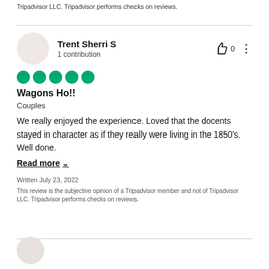Tripadvisor LLC. Tripadvisor performs checks on reviews.
Trent Sherri S
1 contribution
Wagons Ho!!
Couples
We really enjoyed the experience. Loved that the docents stayed in character as if they really were living in the 1850's. Well done.
Read more
Written July 23, 2022
This review is the subjective opinion of a Tripadvisor member and not of Tripadvisor LLC. Tripadvisor performs checks on reviews.